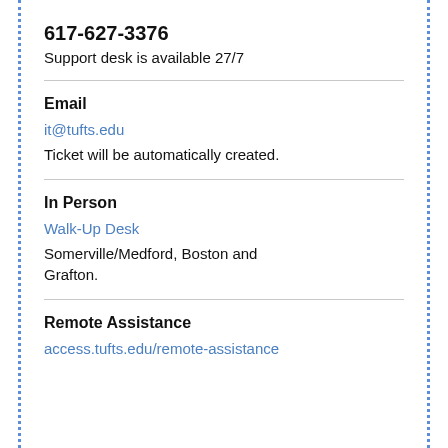617-627-3376
Support desk is available 27/7
Email
it@tufts.edu
Ticket will be automatically created.
In Person
Walk-Up Desk
Somerville/Medford, Boston and Grafton.
Remote Assistance
access.tufts.edu/remote-assistance